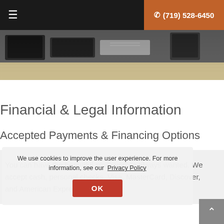≡   ☎ (719) 528-6450
[Figure (photo): Hero image showing desk with laptop and tablet devices, wooden surface visible at bottom]
Financial & Legal Information
Accepted Payments & Financing Options
You can have the beautiful smile you've always wanted. We accept cash, personal checks, Visa, MasterCard, Discover, and American Express.
We use cookies to improve the user experience. For more information, see our Privacy Policy
OK